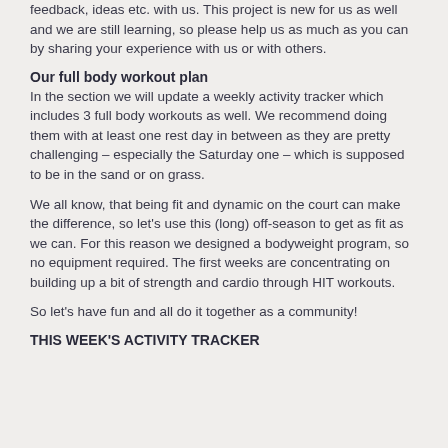feedback, ideas etc. with us. This project is new for us as well and we are still learning, so please help us as much as you can by sharing your experience with us or with others.
Our full body workout plan
In the section we will update a weekly activity tracker which includes 3 full body workouts as well. We recommend doing them with at least one rest day in between as they are pretty challenging – especially the Saturday one – which is supposed to be in the sand or on grass.
We all know, that being fit and dynamic on the court can make the difference, so let's use this (long) off-season to get as fit as we can. For this reason we designed a bodyweight program, so no equipment required. The first weeks are concentrating on building up a bit of strength and cardio through HIT workouts.
So let's have fun and all do it together as a community!
THIS WEEK'S ACTIVITY TRACKER